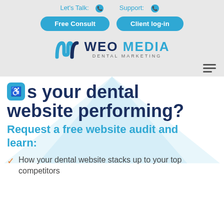Let's Talk: [phone] Support: [phone]
[Figure (screenshot): Free Consult and Client log-in buttons]
[Figure (logo): WEO MEDIA DENTAL MARKETING logo]
Is your dental website performing?
Request a free website audit and learn:
How your dental website stacks up to your top competitors